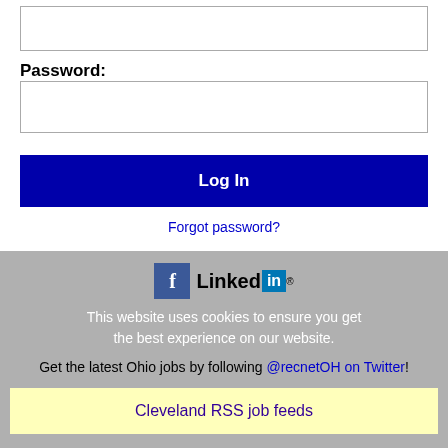Password:
[Figure (screenshot): Password input text field (empty)]
Log In
Forgot password?
[Figure (logo): Facebook and LinkedIn social media logos]
This website uses cookies to ensure you get the best experience on our website.
Get the latest Ohio jobs by following @recnetOH on Twitter!
Cleveland RSS job feeds